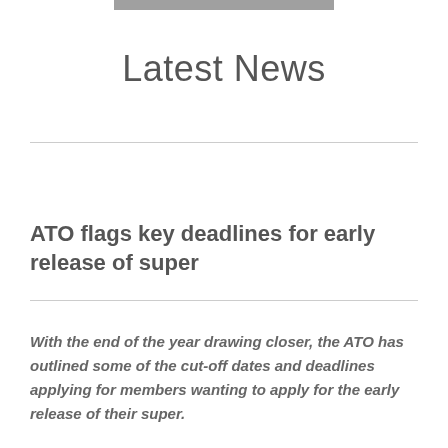Latest News
ATO flags key deadlines for early release of super
With the end of the year drawing closer, the ATO has outlined some of the cut-off dates and deadlines applying for members wanting to apply for the early release of their super.